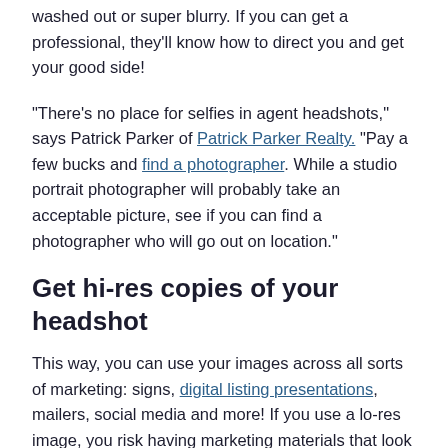washed out or super blurry. If you can get a professional, they'll know how to direct you and get your good side!
“There’s no place for selfies in agent headshots,” says Patrick Parker of Patrick Parker Realty. “Pay a few bucks and find a photographer. While a studio portrait photographer will probably take an acceptable picture, see if you can find a photographer who will go out on location.”
Get hi-res copies of your headshot
This way, you can use your images across all sorts of marketing: signs, digital listing presentations, mailers, social media and more! If you use a lo-res image, you risk having marketing materials that look all pixelated and blurry.